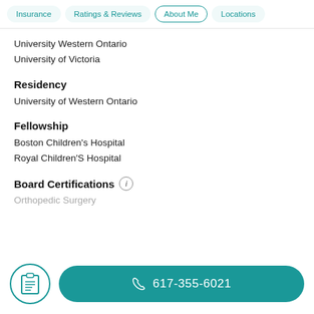Insurance | Ratings & Reviews | About Me | Locations
University Western Ontario
University of Victoria
Residency
University of Western Ontario
Fellowship
Boston Children's Hospital
Royal Children'S Hospital
Board Certifications
Orthopedic Surgery
617-355-6021